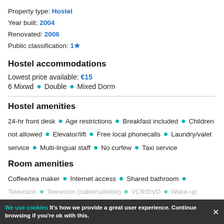Property type: Hostel
Year built: 2004
Renovated: 2006
Public classification: 1★
Hostel accommodations
Lowest price available: €15
6 Mixwd • Double • Mixed Dorm
Hostel amenities
24-hr front desk • Age restrictions • Breakfast included • Children not allowed • Elevator/lift • Free local phonecalls • Laundry/valet service • Multi-lingual staff • No curfew • Taxi service
Room amenities
Coffee/tea maker • Internet access • Shared bathroom • Television • Television (cable/satellite) • VCR/DVD • Wake-up
We use cookies It's how we provide a great user experience. Continue browsing if you're ok with this.